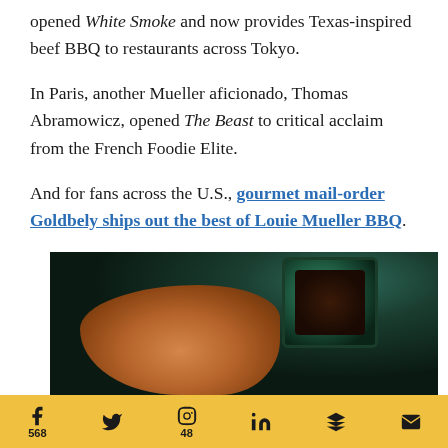opened White Smoke and now provides Texas-inspired beef BBQ to restaurants across Tokyo.

In Paris, another Mueller aficionado, Thomas Abramowicz, opened The Beast to critical acclaim from the French Foodie Elite.

And for fans across the U.S., gourmet mail-order Goldbely ships out the best of Louie Mueller BBQ.
[Figure (photo): Dark overhead photo of BBQ meat on butcher paper with a green ceramic cup/bowl of sauce on a wooden cutting board]
f 568  [twitter icon]  [pinterest icon] 48  in  [flipboard icon]  [email icon]